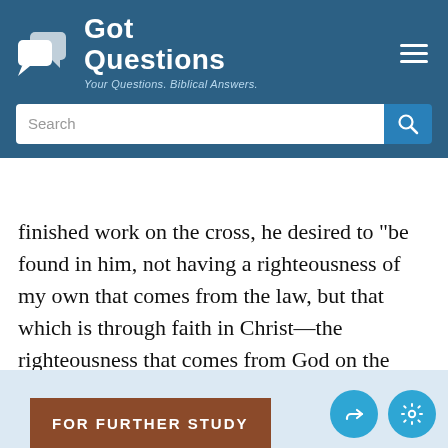[Figure (logo): GotQuestions logo with speech bubble icon and tagline 'Your Questions. Biblical Answers.']
finished work on the cross, he desired to “be found in him, not having a righteousness of my own that comes from the law, but that which is through faith in Christ—the righteousness that comes from God on the basis of faith” (verse 9). No one, not even the strictest Pharisee, is justified by keeping the Law (Galatians 3:11).
FOR FURTHER STUDY